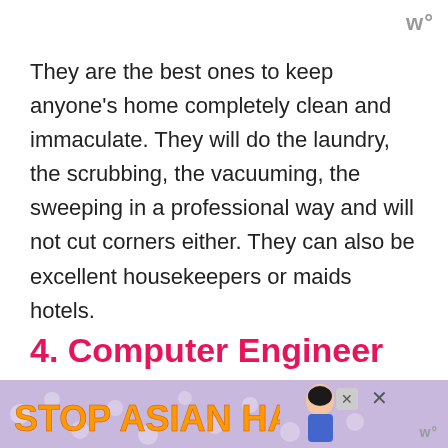w°
They are the best ones to keep anyone’s home completely clean and immaculate. They will do the laundry, the scrubbing, the vacuuming, the sweeping in a professional way and will not cut corners either. They can also be excellent housekeepers or maids hotels.
4. Computer Engineer
This would not surprise you to learn that
[Figure (other): Advertisement banner: Stop Asian Hate with orange/yellow bold text on purple floral background, close button, and watermark logo]